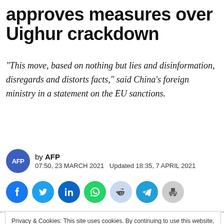approves measures over Uighur crackdown
“This move, based on nothing but lies and disinformation, disregards and distorts facts,” said China’s foreign ministry in a statement on the EU sanctions.
by AFP
07:50, 23 MARCH 2021   Updated 18:35, 7 APRIL 2021
[Figure (infographic): Row of social media share buttons: Facebook (blue circle), Twitter (blue circle), LinkedIn (blue circle), WhatsApp (green circle), Reddit (light blue circle), Telegram (teal circle), Print (gray circle)]
Privacy & Cookies: This site uses cookies. By continuing to use this website, you agree to their use.
To find out more, including how to control cookies, see here: Cookie Policy
Close and accept